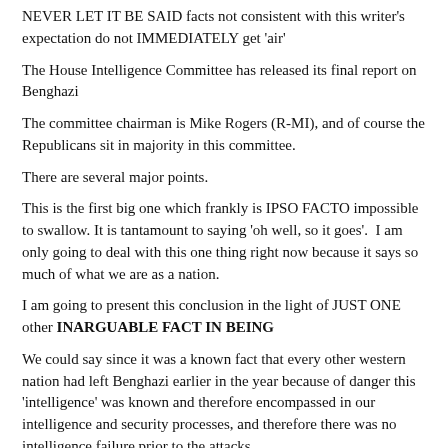NEVER LET IT BE SAID facts not consistent with this writer's expectation do not IMMEDIATELY get 'air'
The House Intelligence Committee has released its final report on Benghazi
The committee chairman is Mike Rogers (R-MI), and of course the Republicans sit in majority in this committee.
There are several major points.
This is the first big one which frankly is IPSO FACTO impossible to swallow. It is tantamount to saying 'oh well, so it goes'.  I am only going to deal with this one thing right now because it says so much of what we are as a nation.
I am going to present this conclusion in the light of JUST ONE other INARGUABLE FACT IN BEING
We could say since it was a known fact that every other western nation had left Benghazi earlier in the year because of danger this 'intelligence' was known and therefore encompassed in our intelligence and security processes, and therefore there was no intelligence failure prior to the attacks.
We could say since this was known our processes made a measured decision about the level of security required and there was no intelligence failure prior to the attacks.